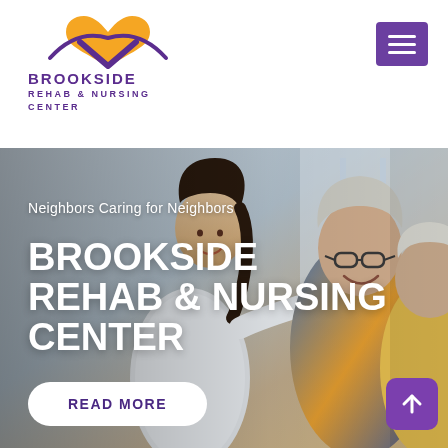[Figure (logo): Brookside Rehab & Nursing Center logo with heart/arch icon in yellow and purple]
BROOKSIDE
REHAB & NURSING CENTER
[Figure (photo): A female healthcare worker in white smiling and attending to an elderly couple (man with glasses and a woman) in a clinical/home setting]
Neighbors Caring for Neighbors
BROOKSIDE REHAB & NURSING CENTER
READ MORE